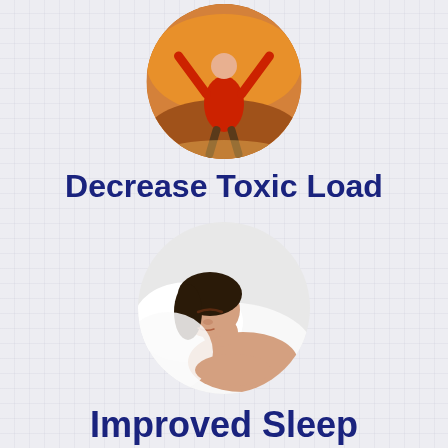[Figure (photo): Circular photo of a man in a red shirt with arms raised in celebration against a warm sunset background]
Decrease Toxic Load
[Figure (photo): Circular photo of a woman sleeping peacefully on a white pillow]
Improved Sleep